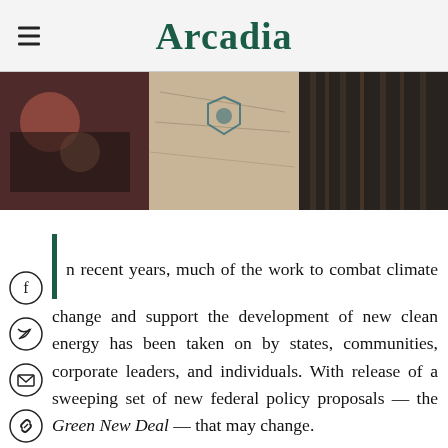Arcadia
[Figure (photo): Hero image strip showing urban street scenes with people and buildings, triptych style]
In recent years, much of the work to combat climate change and support the development of new clean energy has been taken on by states, communities, corporate leaders, and individuals. With release of a sweeping set of new federal policy proposals — the Green New Deal — that may change.